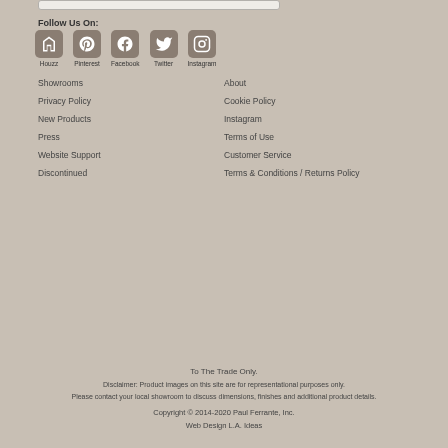Follow Us On:
[Figure (other): Social media icons row: Houzz, Pinterest, Facebook, Twitter, Instagram]
Showrooms
Privacy Policy
New Products
Press
Website Support
Discontinued
About
Cookie Policy
Instagram
Terms of Use
Customer Service
Terms & Conditions / Returns Policy
To The Trade Only.
Disclaimer: Product images on this site are for representational purposes only.
Please contact your local showroom to discuss dimensions, finishes and additional product details.
Copyright © 2014-2020 Paul Ferrante, Inc.
Web Design L.A. Ideas